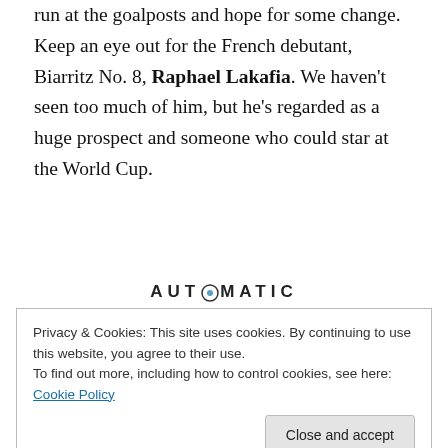run at the goalposts and hope for some change. Keep an eye out for the French debutant, Biarritz No. 8, Raphael Lakafia. We haven't seen too much of him, but he's regarded as a huge prospect and someone who could star at the World Cup.
[Figure (screenshot): Automattic advertisement: logo at top, headline 'Build a better web and a better world.' with blue Apply button and photo of a man]
Privacy & Cookies: This site uses cookies. By continuing to use this website, you agree to their use.
To find out more, including how to control cookies, see here: Cookie Policy
Finally, Meejawatch. It was interesting that Brendan